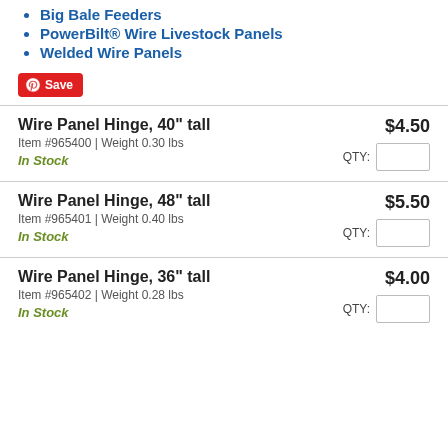Big Bale Feeders
PowerBilt® Wire Livestock Panels
Welded Wire Panels
Save
| Product | Price |
| --- | --- |
| Wire Panel Hinge, 40" tall
Item #965400 | Weight 0.30 lbs
In Stock | $4.50 |
| Wire Panel Hinge, 48" tall
Item #965401 | Weight 0.40 lbs
In Stock | $5.50 |
| Wire Panel Hinge, 36" tall
Item #965402 | Weight 0.28 lbs
In Stock | $4.00 |